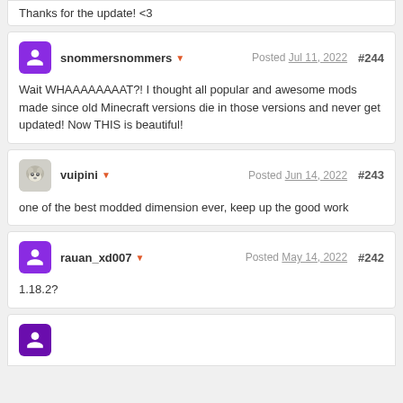Thanks for the update! <3
snommersnommers · Posted Jul 11, 2022 #244
Wait WHAAAAAAAAT?! I thought all popular and awesome mods made since old Minecraft versions die in those versions and never get updated! Now THIS is beautiful!
vuipini · Posted Jun 14, 2022 #243
one of the best modded dimension ever, keep up the good work
rauan_xd007 · Posted May 14, 2022 #242
1.18.2?